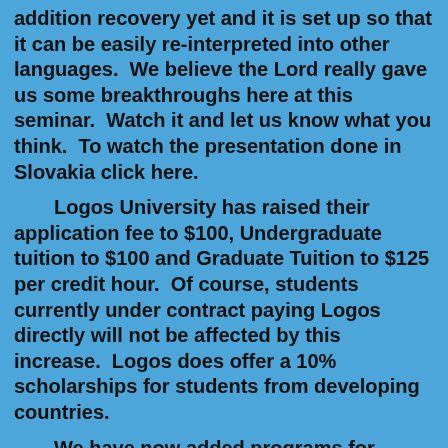addition recovery yet and it is set up so that it can be easily re-interpreted into other languages.  We believe the Lord really gave us some breakthroughs here at this seminar.  Watch it and let us know what you think.  To watch the presentation done in Slovakia click here.
Logos University has raised their application fee to $100, Undergraduate tuition to $100 and Graduate Tuition to $125 per credit hour.  Of course, students currently under contract paying Logos directly will not be affected by this increase.  Logos does offer a 10% scholarships for students from developing countries.
We have now added programs for helping churches start support groups, lay counseling, counseling centers, and counseling training centers.  Also note the new options page that provides a chart showing all of our training options.
To more easily access important information use the direct links on the top right of this page.